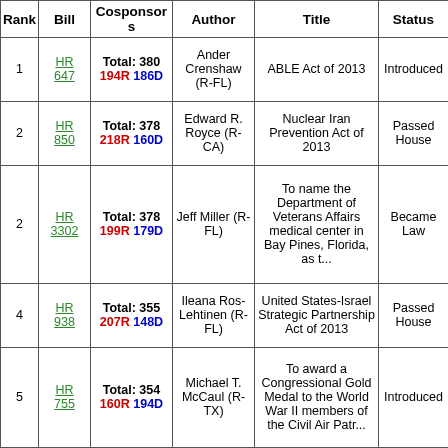| Rank | Bill | Cosponsors | Author | Title | Status |
| --- | --- | --- | --- | --- | --- |
| 1 | HR 647 | Total: 380
194R 186D | Ander Crenshaw (R-FL) | ABLE Act of 2013 | Introduced |
| 2 | HR 850 | Total: 378
218R 160D | Edward R. Royce (R-CA) | Nuclear Iran Prevention Act of 2013 | Passed House |
| 2 | HR 3302 | Total: 378
199R 179D | Jeff Miller (R-FL) | To name the Department of Veterans Affairs medical center in Bay Pines, Florida, as t... | Became Law |
| 4 | HR 938 | Total: 355
207R 148D | Ileana Ros-Lehtinen (R-FL) | United States-Israel Strategic Partnership Act of 2013 | Passed House |
| 5 | HR 755 | Total: 354
160R 194D | Michael T. McCaul (R-TX) | To award a Congressional Gold Medal to the World War II members of the Civil Air Patr... | Introduced |